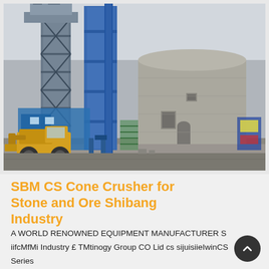[Figure (photo): Industrial stone crushing facility with a tall blue steel tower/column structure on the left, a yellow front loader vehicle, and a large round concrete cylindrical building on the right. Overcast sky background.]
SBM CS Cone Crusher for Stone and Ore Shibang Industry
A WORLD RENOWNED EQUIPMENT MANUFACTURER S iifcMfMi Industry £ TMtinogy Group CO Lid cs sijuisiieIwinCS Series